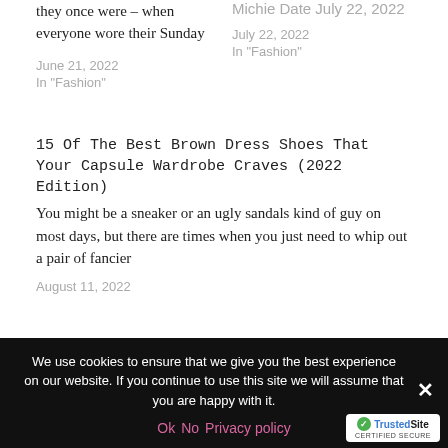they once were – when everyone wore their Sunday
Michie Date July 22, 2022
June 21, 2022
In "Fashion"
July 22, 2022
In "Fashion"
15 Of The Best Brown Dress Shoes That Your Capsule Wardrobe Craves (2022 Edition)
You might be a sneaker or an ugly sandals kind of guy on most days, but there are times when you just need to whip out a pair of fancier
August 11, 2022
We use cookies to ensure that we give you the best experience on our website. If you continue to use this site we will assume that you are happy with it.
Ok   No   Privacy policy